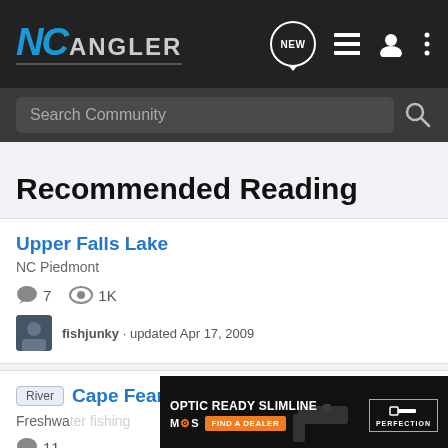NC Angler — navigation bar with logo, NEW bubble, list icon, user icon, more icon
Search Community
Recommended Reading
Upper Falls Lake
NC Piedmont
7 comments · 1K views
fishjunky · updated Apr 17, 2009
River  Cape Fear River @ Hwy 42
Freshwater…
11 comments
[Figure (screenshot): Glock Optic Ready Slimline advertisement banner with MOS text, Find a Dealer orange button, gun image, and Glock Perfection logo]